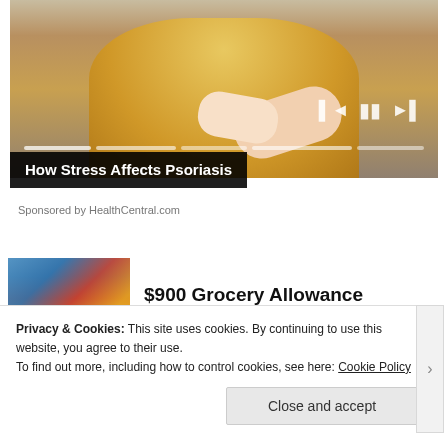[Figure (photo): Woman in yellow knit sweater sitting on a couch, holding her arm/elbow, with media player controls and progress bar overlay]
How Stress Affects Psoriasis
Sponsored by HealthCentral.com
[Figure (photo): Thumbnail image of a crowded store or grocery store interior]
$900 Grocery Allowance
Privacy & Cookies: This site uses cookies. By continuing to use this website, you agree to their use.
To find out more, including how to control cookies, see here: Cookie Policy
Close and accept